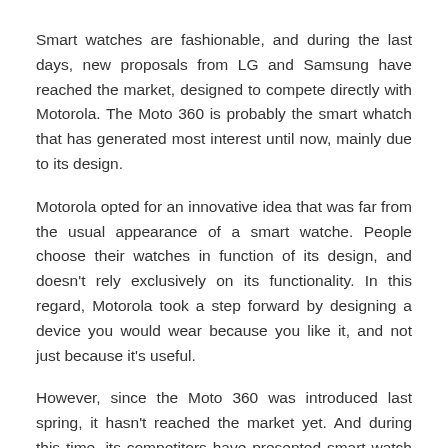Smart watches are fashionable, and during the last days, new proposals from LG and Samsung have reached the market, designed to compete directly with Motorola. The Moto 360 is probably the smart whatch that has generated most interest until now, mainly due to its design.
Motorola opted for an innovative idea that was far from the usual appearance of a smart watche. People choose their watches in function of its design, and doesn't rely exclusively on its functionality. In this regard, Motorola took a step forward by designing a device you would wear because you like it, and not just because it's useful.
However, since the Moto 360 was introduced last spring, it hasn't reached the market yet. And during this time, its competitors have presented smart watch models with similar designs. The LG G Watch R and Samsung Gear S are designed to compete directly with Motorola's bolt bet, and all of them are scheduled to hit the